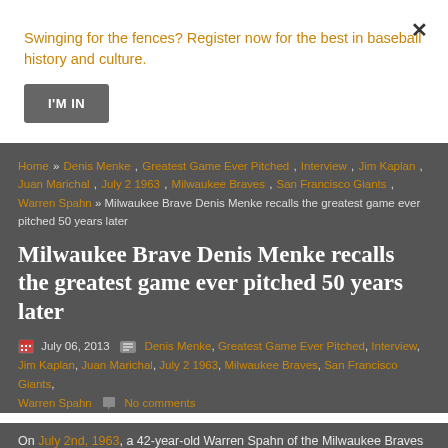Swinging for the fences? Register now for the best in baseball history and culture.
I'M IN
Home » Denis Menke , Greatest Game Ever Pitched , Interview , Jim Kaplan , Juan Marichal , July 2 1963 , Milwaukee Braves , San Francisco Giants , Warren Spahn » Milwaukee Brave Denis Menke recalls the greatest game ever pitched 50 years later
Milwaukee Brave Denis Menke recalls the greatest game ever pitched 50 years later
July 06, 2013   Denis Menke, Greatest Game Ever Pitched, Interview, Jim Kaplan, Juan Marichal, July 2 1963, Milwaukee Braves, San Francisco Giants, Warren Spahn   No comments
On July 2nd, 1963, a 42-year-old Warren Spahn of the Milwaukee Braves squared off against the 25-year-old Juan Marichal of the San Francisco Giants in a duel for the ages. Sixteen innings later, the game ended with one of the future Hall of Famers on the mound watching the flight of a